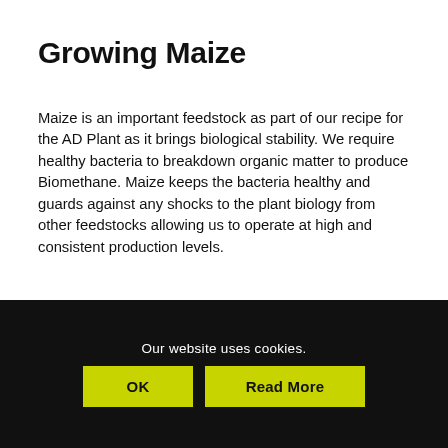Growing Maize
Maize is an important feedstock as part of our recipe for the AD Plant as it brings biological stability. We require healthy bacteria to breakdown organic matter to produce Biomethane. Maize keeps the bacteria healthy and guards against any shocks to the plant biology from other feedstocks allowing us to operate at high and consistent production levels.
Maize is also an important part of our balanced crop rotation providing a useful tool for weed control, especially against Resistant Blackgrass, it grows well on some of our less productive lighter
Our website uses cookies.
OK
Read More